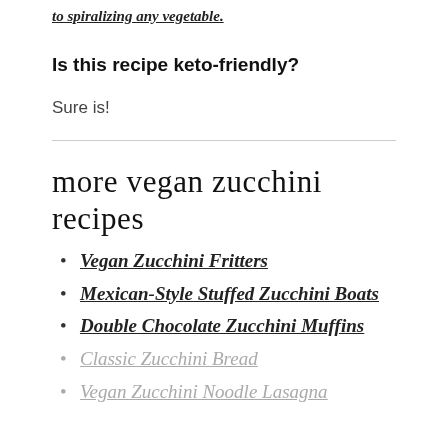to spiralizing any vegetable.
Is this recipe keto-friendly?
Sure is!
more vegan zucchini recipes
Vegan Zucchini Fritters
Mexican-Style Stuffed Zucchini Boats
Double Chocolate Zucchini Muffins
Classic Zucchini Bread
Vegan Zucchini Noodle Lasagna